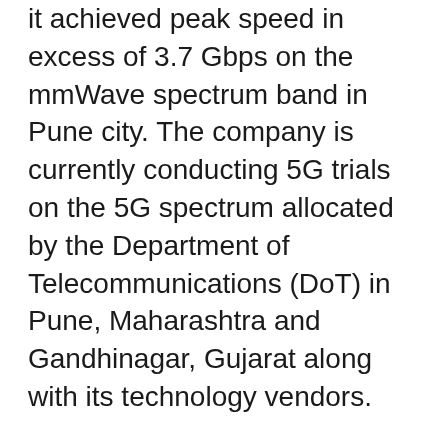it achieved peak speed in excess of 3.7 Gbps on the mmWave spectrum band in Pune city. The company is currently conducting 5G trials on the 5G spectrum allocated by the Department of Telecommunications (DoT) in Pune, Maharashtra and Gandhinagar, Gujarat along with its technology vendors.
Vi has deployed a 5G trial in Pune in a lab setup of an end-to-end captive network of Cloud Core, new generation Transport and Radio Access Network. The trial saw Vi achieving a peak speed in excess of 3.7 Gbps on the mmWave spectrum band with very low latency. Vi said that it achieved the speeds with state-of-the-art equipment in 5G Non-